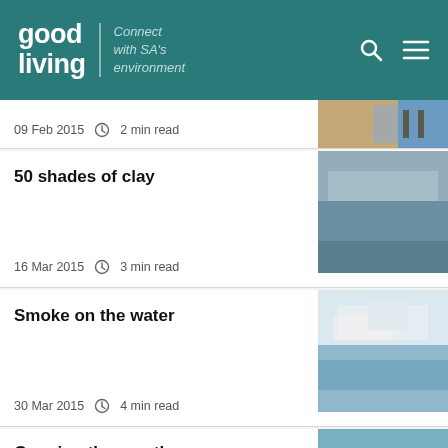good living | Connect with SA's environment
09 Feb 2015   2 min read
50 shades of clay
16 Mar 2015   3 min read
Smoke on the water
30 Mar 2015   4 min read
Opening the mouth